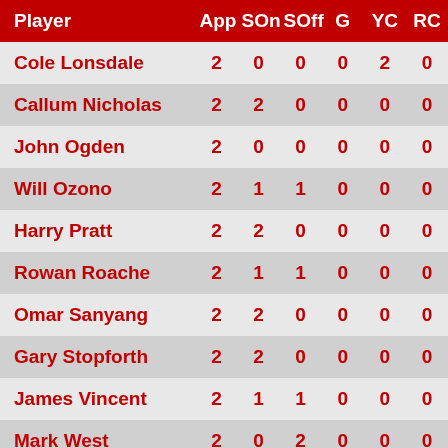| Player | App | SOn | SOff | G | YC | RC |
| --- | --- | --- | --- | --- | --- | --- |
| Cole Lonsdale | 2 | 0 | 0 | 0 | 2 | 0 |
| Callum Nicholas | 2 | 2 | 0 | 0 | 0 | 0 |
| John Ogden | 2 | 0 | 0 | 0 | 0 | 0 |
| Will Ozono | 2 | 1 | 1 | 0 | 0 | 0 |
| Harry Pratt | 2 | 2 | 0 | 0 | 0 | 0 |
| Rowan Roache | 2 | 1 | 1 | 0 | 0 | 0 |
| Omar Sanyang | 2 | 2 | 0 | 0 | 0 | 0 |
| Gary Stopforth | 2 | 2 | 0 | 0 | 0 | 0 |
| James Vincent | 2 | 1 | 1 | 0 | 0 | 0 |
| Mark West | 2 | 0 | 2 | 0 | 0 | 0 |
| Jacob Wood | 2 | 0 | 0 | 0 | 0 | 0 |
| Steven Affleck | 1 | 1 | 0 | 0 | 0 | 0 |